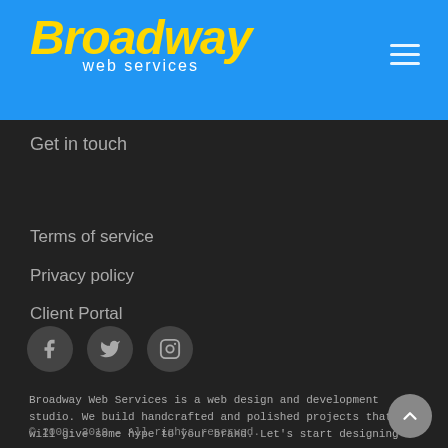[Figure (logo): Broadway Web Services logo — 'Broadway' in bold italic yellow, 'web services' in white below, on a blue background with a hamburger menu icon top right]
Get in touch
Terms of service
Privacy policy
Client Portal
[Figure (infographic): Three circular social media icons: Facebook (f), Twitter (bird), Instagram (camera)]
Broadway Web Services is a web design and development studio. We build handcrafted and polished projects that will give some hype to your brand. Let's start designing !
© 2008- 2019 - All rights reserved.